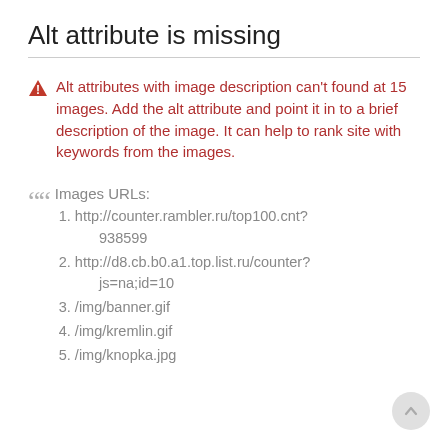Alt attribute is missing
Alt attributes with image description can't found at 15 images. Add the alt attribute and point it in to a brief description of the image. It can help to rank site with keywords from the images.
Images URLs:
1. http://counter.rambler.ru/top100.cnt?938599
2. http://d8.cb.b0.a1.top.list.ru/counter?js=na;id=10
3. /img/banner.gif
4. /img/kremlin.gif
5. /img/knopka.jpg